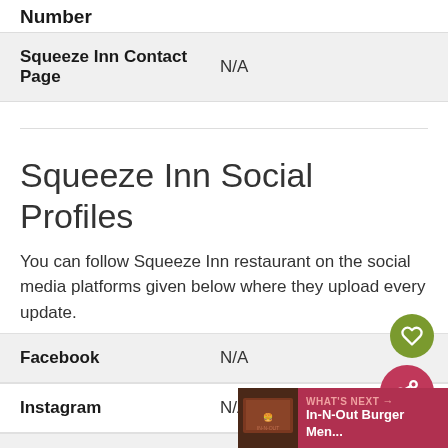Number
| Squeeze Inn Contact Page | N/A |
| --- | --- |
Squeeze Inn Social Profiles
You can follow Squeeze Inn restaurant on the social media platforms given below where they upload every update.
|  |  |
| --- | --- |
| Facebook | N/A |
| Instagram | N/A |
| Twitter | N/A |